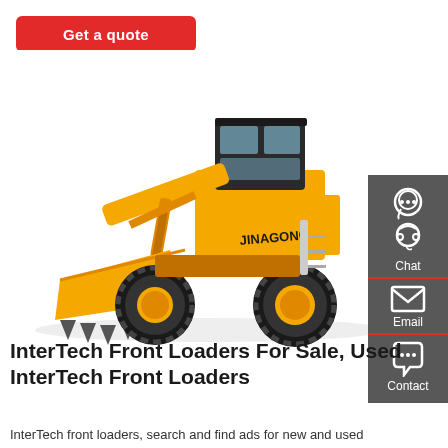[Figure (other): Red 'Get a quote' button]
[Figure (photo): Yellow Jinagong/JINAGONG front loader wheel loader machine on white background]
[Figure (other): Dark grey sidebar with Chat, Email, and Contact icons and labels]
InterTech Front Loaders For Sale, Used InterTech Front Loaders
InterTech front loaders, search and find ads for new and used